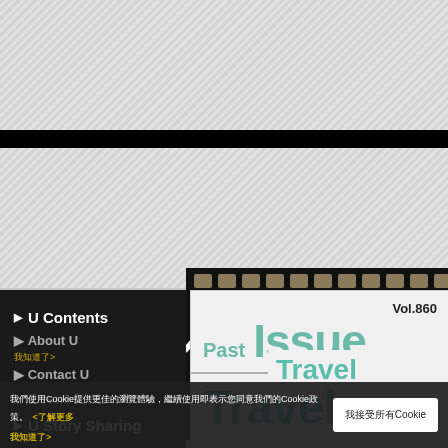[Figure (screenshot): Website interface with diagonal stripe grey background, black horizontal bar, film strip banner showing Chinese characters '你影相．我' in white bold text on black background with film perforation holes]
▶ U Contents
▶ U Articles new
▶ Gift for U
▶ Event for U
▶ U Story Sharing
Vol.860
Past Issue
Travel
· About U
▶ Contact U
Travel
我們使用Cookie提供更佳的瀏覽體驗，繼續使用即表示您同意我們的Cookie政策。 <了解更多 我知道了>